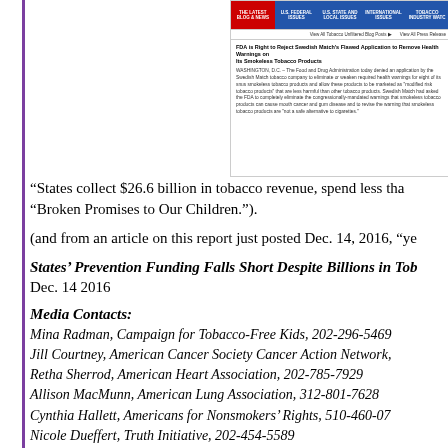[Figure (screenshot): Screenshot of a tobacco policy website showing navigation tabs (THE LATEST BLOG & NEWS, U.S. FEDERAL ISSUES, U.S. STATE AND LOCAL ISSUES, INTERNATIONAL ISSUES, TOBACCO INDUSTRY WATCH) and an article titled 'FDA is Right to Reject Swedish Match's Flawed Application to Remove Health Warnings on Its Smokeless Tobacco Products' with body text about the FDA denying an application by Swedish Match.]
“States collect $26.6 billion in tobacco revenue, spend less tha“Broken Promises to Our Children.”).
(and from an article on this report just posted Dec. 14, 2016, “ye
States’ Prevention Funding Falls Short Despite Billions in Tob Dec. 14 2016
Media Contacts:
Mina Radman, Campaign for Tobacco-Free Kids, 202-296-5469
Jill Courtney, American Cancer Society Cancer Action Network,
Retha Sherrod, American Heart Association, 202-785-7929
Allison MacMunn, American Lung Association, 312-801-7628
Cynthia Hallett, Americans for Nonsmokers’ Rights, 510-460-07
Nicole Dueffert, Truth Initiative, 202-454-5589
WASHINGTON, D.C. – The states are missing a golden opportu dollars in health care costs because they continue to shortchan smoking and help smokers quit, according to a report relea organizations. The report challenges states to do more to fight t